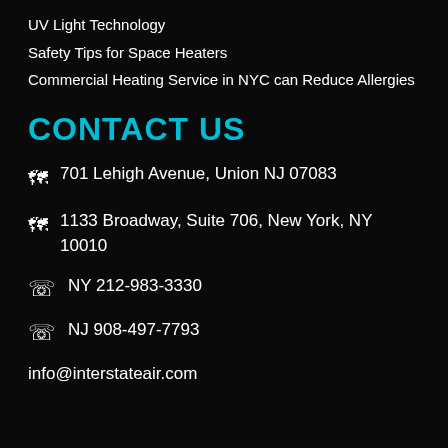UV Light Technology
Safety Tips for Space Heaters
Commercial Heating Service in NYC can Reduce Allergies
CONTACT US
701 Lehigh Avenue, Union NJ 07083
1133 Broadway, Suite 706, New York, NY 10010
NY 212-983-3330
NJ 908-497-7793
info@interstateair.com